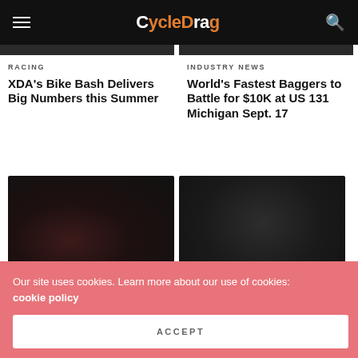CycleDrag
[Figure (photo): Dark motorcycle racing photo, partially visible at top, left column]
[Figure (photo): Dark motorcycle racing photo, partially visible at top, right column]
RACING
XDA’s Bike Bash Delivers Big Numbers this Summer
INDUSTRY NEWS
World’s Fastest Baggers to Battle for $10K at US 131 Michigan Sept. 17
[Figure (photo): Dark motorcycle racing photo, left column, second row]
[Figure (photo): Dark motorcycle racing photo, right column, second row]
INDUSTRY NEWS
INDUSTRY NEWS
Our site uses cookies. Learn more about our use of cookies: cookie policy
ACCEPT